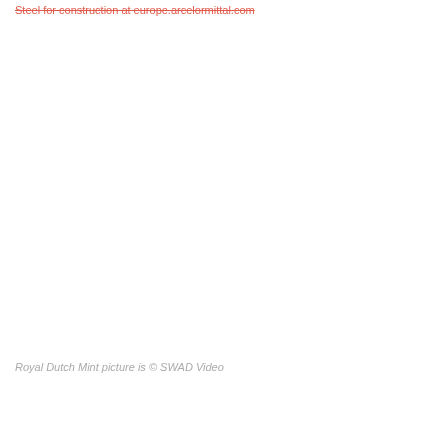Steel for construction at europe.arcelormittal.com
Royal Dutch Mint picture is © SWAD Video